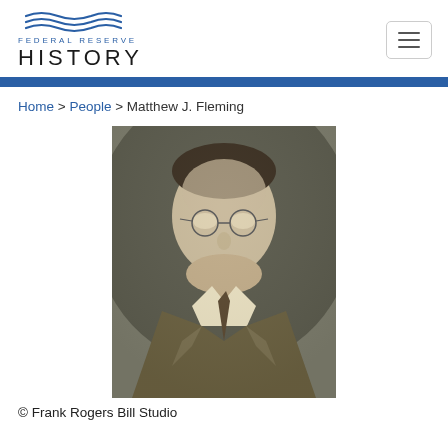FEDERAL RESERVE HISTORY
Home > People > Matthew J. Fleming
[Figure (photo): Black and white portrait photograph of Matthew J. Fleming, a man wearing round glasses, a suit, and a patterned tie, in a formal studio setting.]
© Frank Rogers Bill Studio